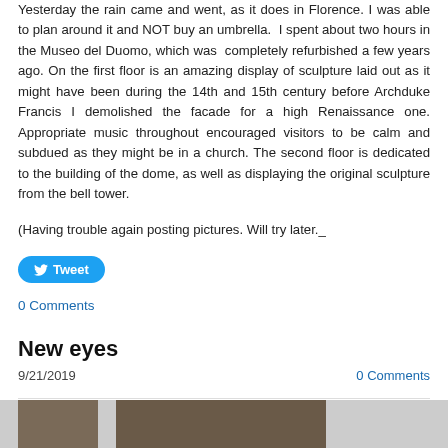Yesterday the rain came and went, as it does in Florence. I was able to plan around it and NOT buy an umbrella. I spent about two hours in the Museo del Duomo, which was completely refurbished a few years ago. On the first floor is an amazing display of sculpture laid out as it might have been during the 14th and 15th century before Archduke Francis I demolished the facade for a high Renaissance one. Appropriate music throughout encouraged visitors to be calm and subdued as they might be in a church. The second floor is dedicated to the building of the dome, as well as displaying the original sculpture from the bell tower.
(Having trouble again posting pictures. Will try later._
Tweet
0 Comments
New eyes
9/21/2019
0 Comments
[Figure (photo): Two photo thumbnails partially visible at the bottom of the page]